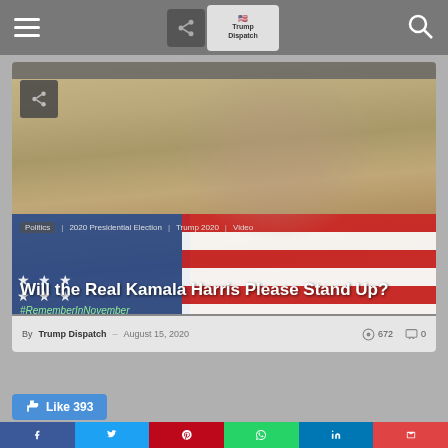Trump Dispatch
[Figure (screenshot): Article thumbnail showing an American flag with a faded portrait overlay on a wood-panel background. Tags: Politics, 2020 Presidential Election, Trump 2020, Video. Title: Will the Real Kamala Harris Please Stand Up? Hashtag: #RememberInNovember. Meta: By Trump Dispatch – August 15, 2020, 672 views, 0 comments.]
Will the Real Kamala Harris Please Stand Up?
#RememberInNovember
By Trump Dispatch – August 15, 2020   672   0
Like 393